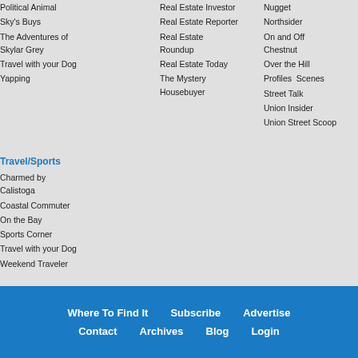Political Animal
Sky's Buys
The Adventures of Skylar Grey
Travel with your Dog
Yapping
Real Estate Investor
Real Estate Reporter
Real Estate Roundup
Real Estate Today
The Mystery Housebuyer
Nugget
Northsider
On and Off Chestnut
Over the Hill
Profiles  Scenes
Street Talk
Union Insider
Union Street Scoop
Travel/Sports
Charmed by Calistoga
Coastal Commuter
On the Bay
Sports Corner
Travel with your Dog
Weekend Traveler
Where To Find It   Subscribe   Advertise   Contact   Archives   Blog   Login